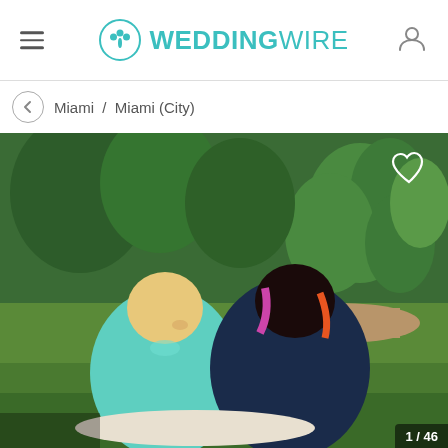WEDDINGWIRE
Miami / Miami (City)
[Figure (photo): Two women sitting on grass in a garden with cacti and tropical plants in the background. One woman wears a teal polo shirt, the other wears a dark navy dress with colorful hair. A white heart outline icon appears in the top right corner of the photo.]
1 / 46